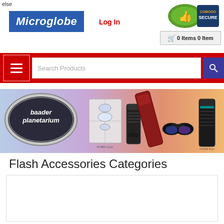else
[Figure (logo): Microglobe logo - white italic text on blue background]
Log In
[Figure (logo): Comodo Secure badge with thumbs up icon]
0 Items 0 Item
[Figure (screenshot): Red navigation bar with hamburger menu, search products input, and purple search button]
[Figure (photo): Baader Planetarium banner with logo badge and telescope/eyepiece accessories on gradient background]
Flash Accessories Categories